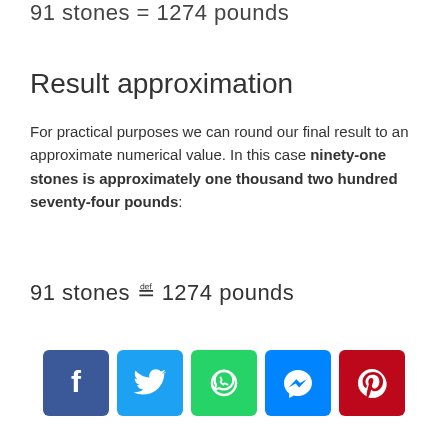Result approximation
For practical purposes we can round our final result to an approximate numerical value. In this case ninety-one stones is approximately one thousand two hundred seventy-four pounds:
[Figure (infographic): Row of five social media share buttons: Facebook (blue), Twitter (light blue), WhatsApp (green), Messenger (blue), Pinterest (red)]